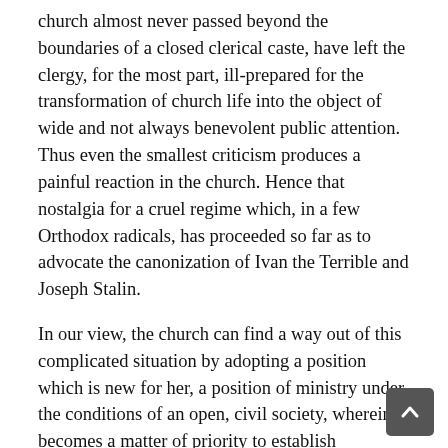church almost never passed beyond the boundaries of a closed clerical caste, have left the clergy, for the most part, ill-prepared for the transformation of church life into the object of wide and not always benevolent public attention. Thus even the smallest criticism produces a painful reaction in the church. Hence that nostalgia for a cruel regime which, in a few Orthodox radicals, has proceeded so far as to advocate the canonization of Ivan the Terrible and Joseph Stalin.
In our view, the church can find a way out of this complicated situation by adopting a position which is new for her, a position of ministry under the conditions of an open, civil society, wherein it becomes a matter of priority to establish relationships not with a vertical power, but precisely with said society. The attempt to gain access to administrative resources should not in any way prevail over the pastoral function of the Russian Orthodox church.
For its part, society should distinctly acknowledge th